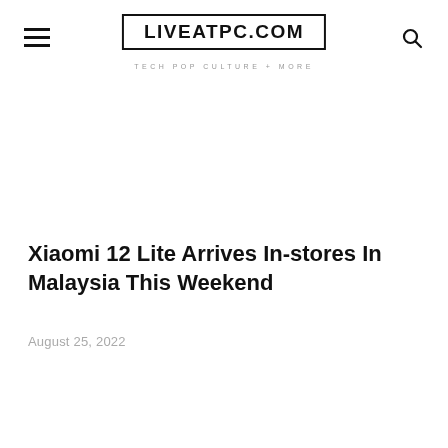LIVEATPC.COM — TECH POP CULTURE + MORE
Xiaomi 12 Lite Arrives In-stores In Malaysia This Weekend
August 25, 2022